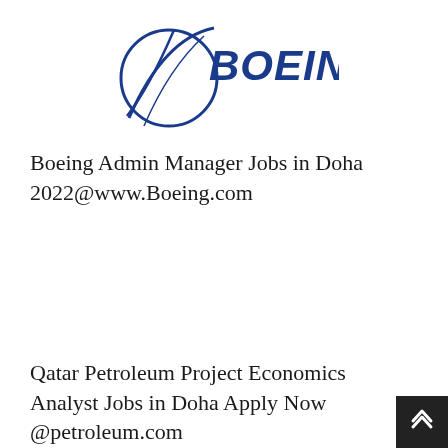[Figure (logo): Boeing logo: stylized globe arc with 'BOEING' text in bold blue italic letters]
Boeing Admin Manager Jobs in Doha 2022@www.Boeing.com
Qatar Petroleum Project Economics Analyst Jobs in Doha Apply Now @petroleum.com